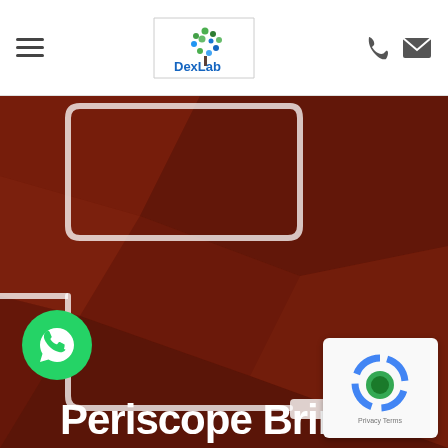DexLab navigation bar with hamburger menu, DexLab logo, phone and mail icons
[Figure (illustration): Dark reddish-brown hero background with white circuit/plug line art illustration showing wires and an electrical plug connector, geometric polygon facets in the background]
Periscope Brin
[Figure (other): Green circular WhatsApp chat button with WhatsApp logo icon]
[Figure (other): reCAPTCHA widget overlay in lower right corner showing Google reCAPTCHA logo, spinner and Privacy/Terms text]